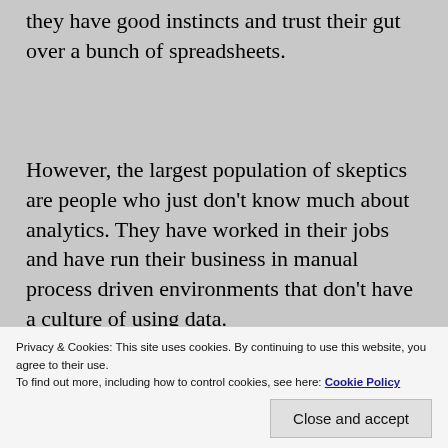they have good instincts and trust their gut over a bunch of spreadsheets.
However, the largest population of skeptics are people who just don't know much about analytics. They have worked in their jobs and have run their business in manual process driven environments that don't have a culture of using data.
Privacy & Cookies: This site uses cookies. By continuing to use this website, you agree to their use.
To find out more, including how to control cookies, see here: Cookie Policy